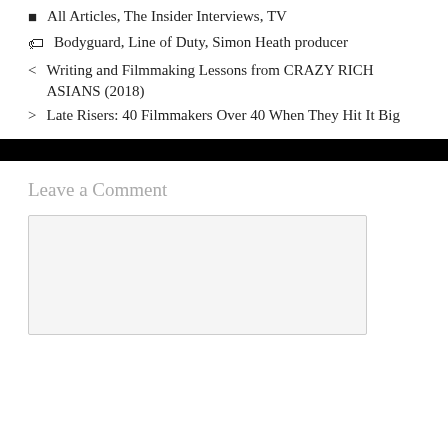All Articles, The Insider Interviews, TV
Bodyguard, Line of Duty, Simon Heath producer
< Writing and Filmmaking Lessons from CRAZY RICH ASIANS (2018)
> Late Risers: 40 Filmmakers Over 40 When They Hit It Big
Leave a Comment
[Figure (other): Empty comment text area input box]